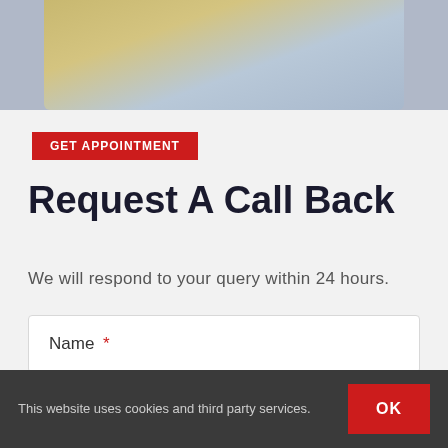[Figure (photo): Partial photo strip at the top showing gold/yellow objects against a blue-gray background]
GET APPOINTMENT
Request A Call Back
We will respond to your query within 24 hours.
Name *
Email address *
This website uses cookies and third party services.